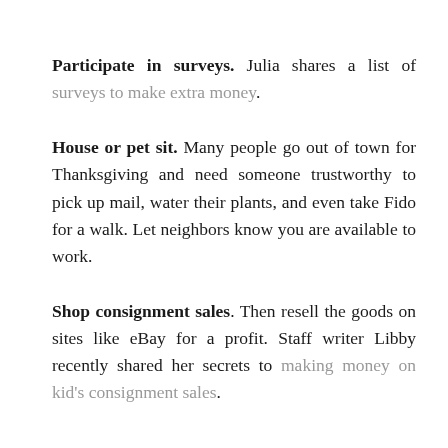Participate in surveys. Julia shares a list of surveys to make extra money.
House or pet sit. Many people go out of town for Thanksgiving and need someone trustworthy to pick up mail, water their plants, and even take Fido for a walk. Let neighbors know you are available to work.
Shop consignment sales. Then resell the goods on sites like eBay for a profit. Staff writer Libby recently shared her secrets to making money on kid's consignment sales.